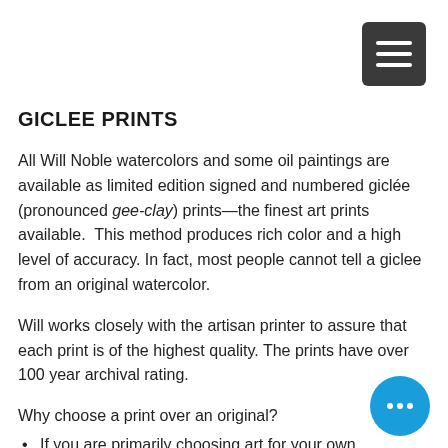[Figure (other): Hamburger menu button — dark gray rounded square with three white horizontal bars]
GICLEE PRINTS
All Will Noble watercolors and some oil paintings are available as limited edition signed and numbered giclée (pronounced gee-clay) prints—the finest art prints available.  This method produces rich color and a high level of accuracy. In fact, most people cannot tell a giclee from an original watercolor.
Will works closely with the artisan printer to assure that each print is of the highest quality. The prints have over 100 year archival rating.
Why choose a print over an original?
If you are primarily choosing art for your own enjoyment, rather than as an
[Figure (other): Blue circular chat/more options button with three white dots]